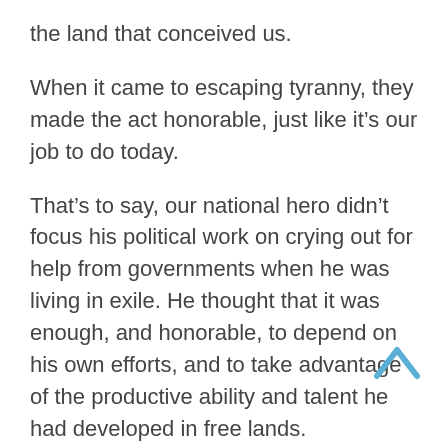the land that conceived us.
When it came to escaping tyranny, they made the act honorable, just like it’s our job to do today.
That’s to say, our national hero didn’t focus his political work on crying out for help from governments when he was living in exile. He thought that it was enough, and honorable, to depend on his own efforts, and to take advantage of the productive ability and talent he had developed in free lands.
Among his vast collection of articles he